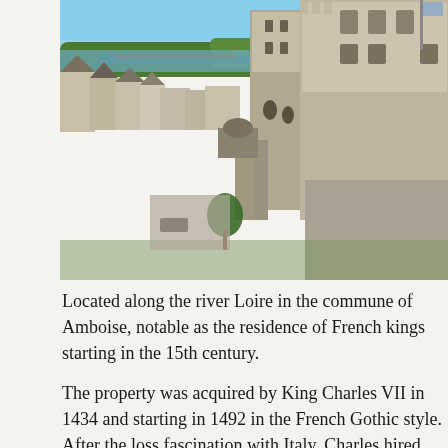[Figure (photo): Aerial/elevated view of Château d'Amboise showing the castle walls and towers on the right, with the town of Amboise and the Loire river in the background. Stone Gothic architecture with the river Loire visible in the upper portion of the image.]
Located along the river Loire in the commune of Amboise, notable as the residence of French kings starting in the 15th century.
The property was acquired by King Charles VII in 1434 and starting in 1492 in the French Gothic style. After the loss fascination with Italy, Charles hired Italy's top designers